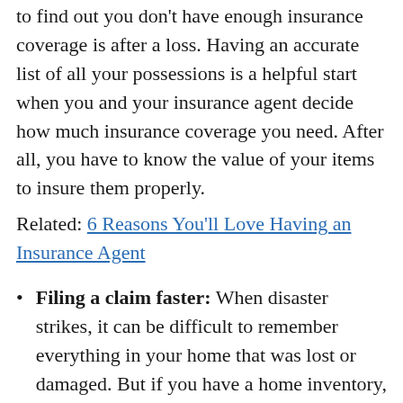to find out you don't have enough insurance coverage is after a loss. Having an accurate list of all your possessions is a helpful start when you and your insurance agent decide how much insurance coverage you need. After all, you have to know the value of your items to insure them properly.
Related: 6 Reasons You'll Love Having an Insurance Agent
Filing a claim faster: When disaster strikes, it can be difficult to remember everything in your home that was lost or damaged. But if you have a home inventory, your work is already done. So you can spend your time on what matters most – getting your life back on track.